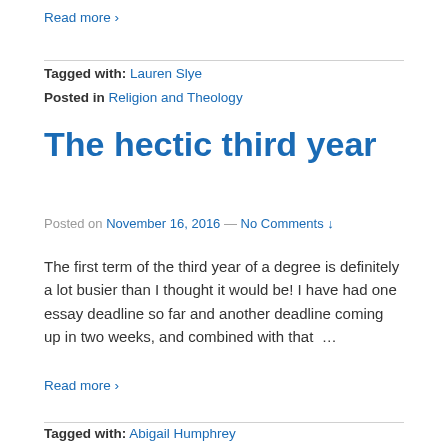Read more ›
Tagged with: Lauren Slye
Posted in Religion and Theology
The hectic third year
Posted on November 16, 2016 — No Comments ↓
The first term of the third year of a degree is definitely a lot busier than I thought it would be! I have had one essay deadline so far and another deadline coming up in two weeks, and combined with that …
Read more ›
Tagged with: Abigail Humphrey
Posted in History